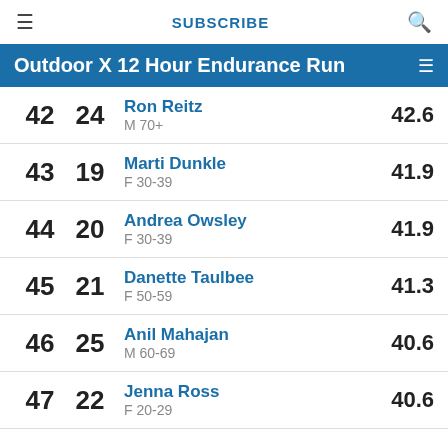≡  SUBSCRIBE  🔍
Outdoor X 12 Hour Endurance Run
| Rank | Cat Rank | Name / Category | Score |
| --- | --- | --- | --- |
| 42 | 24 | Ron Reitz
M 70+ | 42.6 |
| 43 | 19 | Marti Dunkle
F 30-39 | 41.9 |
| 44 | 20 | Andrea Owsley
F 30-39 | 41.9 |
| 45 | 21 | Danette Taulbee
F 50-59 | 41.3 |
| 46 | 25 | Anil Mahajan
M 60-69 | 40.6 |
| 47 | 22 | Jenna Ross
F 20-29 | 40.6 |